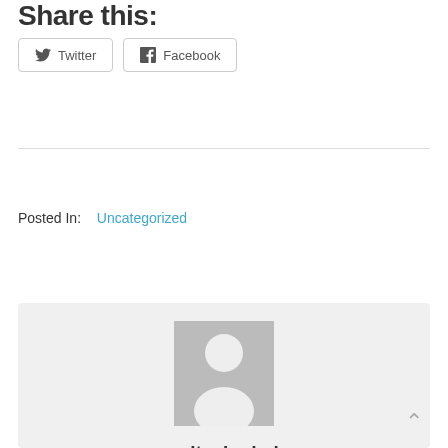Share this:
Twitter
Facebook
Posted In:  Uncategorized
[Figure (illustration): Default user avatar placeholder — grey rectangle with white silhouette of a person]
soaltechadmin
All stories by: soaltechadmin